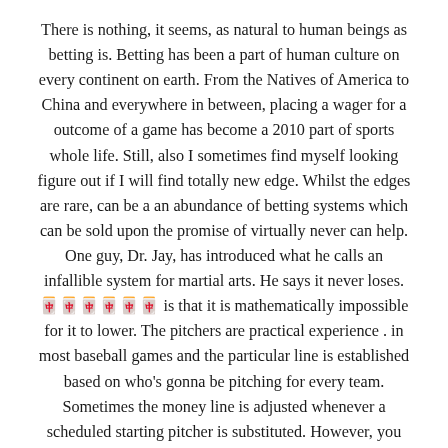There is nothing, it seems, as natural to human beings as betting is. Betting has been a part of human culture on every continent on earth. From the Natives of America to China and everywhere in between, placing a wager for a outcome of a game has become a 2010 part of sports whole life. Still, also I sometimes find myself looking figure out if I will find totally new edge. Whilst the edges are rare, can be a an abundance of betting systems which can be sold upon the promise of virtually never can help. One guy, Dr. Jay, has introduced what he calls an infallible system for martial arts. He says it never loses. 🀄🀄🀄🀄🀄 is that it is mathematically impossible for it to lower. The pitchers are practical experience . in most baseball games and the particular line is established based on who's gonna be pitching for every team. Sometimes the money line is adjusted whenever a scheduled starting pitcher is substituted. However, you can wager concerning the contest as